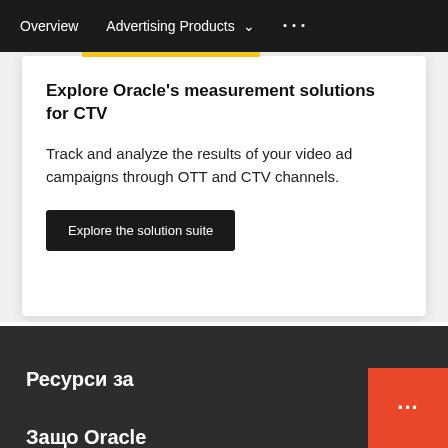Overview   Advertising Products ⌄   •••
Explore Oracle's measurement solutions for CTV
Track and analyze the results of your video ad campaigns through OTT and CTV channels.
Explore the solution suite
Ресурси за
Защо Oracle